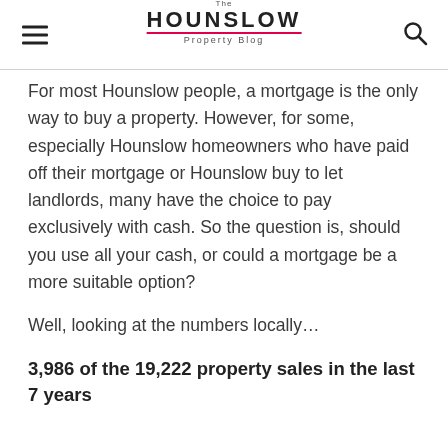The Hounslow Property Blog
For most Hounslow people, a mortgage is the only way to buy a property. However, for some, especially Hounslow homeowners who have paid off their mortgage or Hounslow buy to let landlords, many have the choice to pay exclusively with cash. So the question is, should you use all your cash, or could a mortgage be a more suitable option?
Well, looking at the numbers locally…
3,986 of the 19,222 property sales in the last 7 years